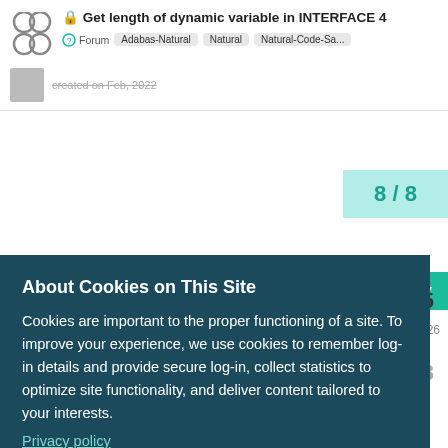Get length of dynamic variable in INTERFACE 4 | Forum | Adabas-Natural | Natural | Natural-Code-Sa...
8 / 8
Reply
About Cookies on This Site
Cookies are important to the proper functioning of a site. To improve your experience, we use cookies to remember log-in details and provide secure log-in, collect statistics to optimize site functionality, and deliver content tailored to your interests.
Privacy policy
AGREE AND PROCEED
Networks JDBC connection pool